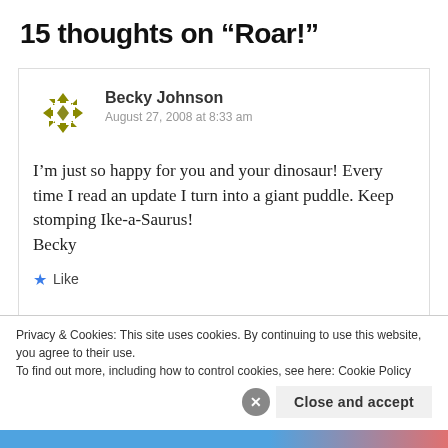15 thoughts on “Roar!”
Becky Johnson
August 27, 2008 at 8:33 am

I’m just so happy for you and your dinosaur! Every time I read an update I turn into a giant puddle. Keep stomping Ike-a-Saurus!
Becky
★ Like
Privacy & Cookies: This site uses cookies. By continuing to use this website, you agree to their use.
To find out more, including how to control cookies, see here: Cookie Policy
Close and accept